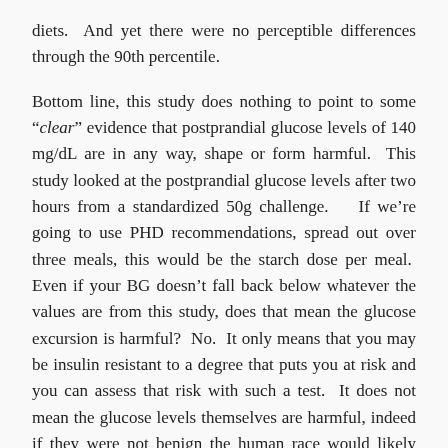diets.  And yet there were no perceptible differences through the 90th percentile.
Bottom line, this study does nothing to point to some "clear" evidence that postprandial glucose levels of 140 mg/dL are in any way, shape or form harmful.  This study looked at the postprandial glucose levels after two hours from a standardized 50g challenge.   If we're going to use PHD recommendations, spread out over three meals, this would be the starch dose per meal.  Even if your BG doesn't fall back below whatever the values are from this study, does that mean the glucose excursion is harmful?  No.  It only means that you may be insulin resistant to a degree that puts you at risk and you can assess that risk with such a test.  It does not mean the glucose levels themselves are harmful, indeed if they were not benign the human race would likely have been wiped off the planet by now.  Well ... all except for the Inuit I suppose.
This is worth repeating:  An elevated 2 hour glucose level